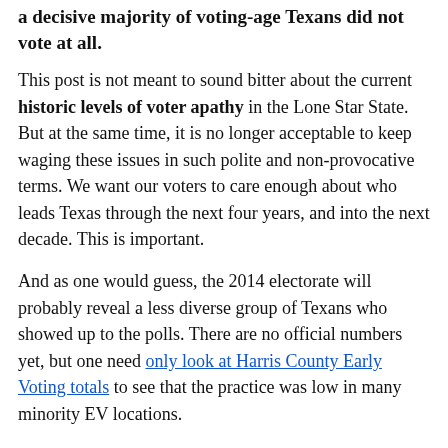a decisive majority of voting-age Texans did not vote at all.
This post is not meant to sound bitter about the current historic levels of voter apathy in the Lone Star State.  But at the same time, it is no longer acceptable to keep waging these issues in such polite and non-provocative terms.  We want our voters to care enough about who leads Texas through the next four years, and into the next decade.  This is important.
And as one would guess, the 2014 electorate will probably reveal a less diverse group of Texans who showed up to the polls.  There are no official numbers yet, but one need only look at Harris County Early Voting totals to see that the practice was low in many minority EV locations.
So there you have it.  The state’s race for Governor was decided by a puny minority of the state.  And yet the political pundits have to use the decisions made from these voters as some validation that Texas is and will forever be a Red State?